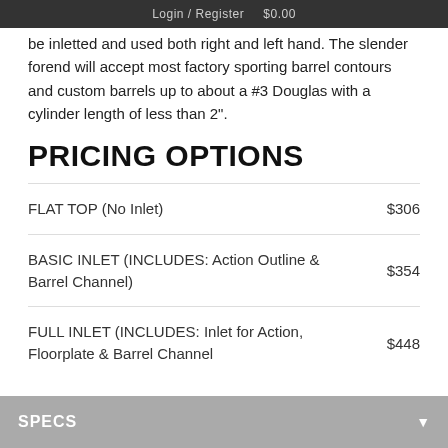Login / Register  $0.00
be inletted and used both right and left hand. The slender forend will accept most factory sporting barrel contours and custom barrels up to about a #3 Douglas with a cylinder length of less than 2".
PRICING OPTIONS
| Option | Price |
| --- | --- |
| FLAT TOP (No Inlet) | $306 |
| BASIC INLET (INCLUDES: Action Outline & Barrel Channel) | $354 |
| FULL INLET (INCLUDES: Inlet for Action, Floorplate & Barrel Channel | $448 |
DETAILS
SPECS